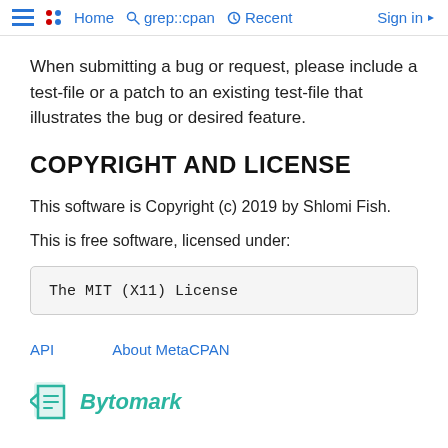Home  grep::cpan  Recent  Sign in
When submitting a bug or request, please include a test-file or a patch to an existing test-file that illustrates the bug or desired feature.
COPYRIGHT AND LICENSE
This software is Copyright (c) 2019 by Shlomi Fish.
This is free software, licensed under:
The MIT (X11) License
API  About MetaCPAN
[Figure (logo): Bytomark logo — a green tag/label icon with italic teal text 'Bytomark']